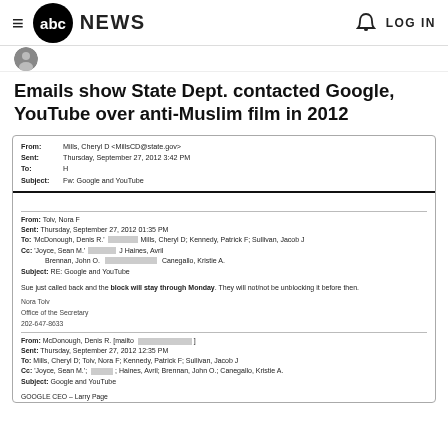ABC NEWS — LOG IN
[Figure (photo): ABC News logo with circular abc badge and NEWS text]
Emails show State Dept. contacted Google, YouTube over anti-Muslim film in 2012
[Figure (screenshot): Scanned email document showing State Department email chain. From: Mills, Cheryl D <MillsCD@state.gov>, Sent: Thursday, September 27, 2012 3:42 PM, To: H, Subject: Fw: Google and YouTube. Second email From: Toiv, Nora F, Sent: Thursday, September 27, 2012 01:35 PM, To: McDonough, Denis R., Mills, Cheryl D; Kennedy, Patrick F; Sullivan, Jacob J, Cc: Joyce, Sean M., J Haines, Avril, Brennan, John O., Canegallo, Kristie A., Subject: RE: Google and YouTube. Body: Sue just called back and the block will stay through Monday. They will not/not be unblocking it before then. Nora Toiv, Office of the Secretary, 202-647-8633. Third email From: McDonough, Denis R. [mailto, Sent: Thursday, September 27, 2012 12:35 PM, To: Mills, Cheryl D; Toiv, Nora F; Kennedy, Patrick F; Sullivan, Jacob J, Cc: Joyce, Sean M.; [redacted]; Haines, Avril; Brennan, John O.; Canegallo, Kristie A., Subject: Google and YouTube. GOOGLE CEO - Larry Page, Mobile, Office: [redacted], YOUTUBE CEO - [partially visible]]